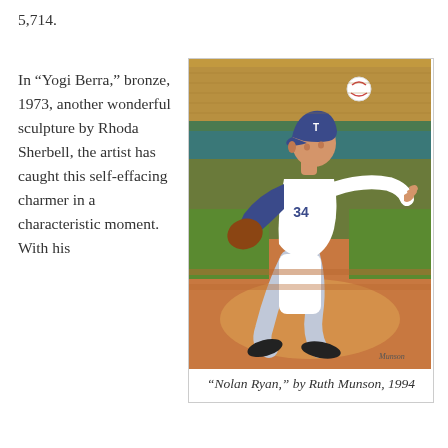5,714.
In “Yogi Berra,” bronze, 1973, another wonderful sculpture by Rhoda Sherbell, the artist has caught this self-effacing charmer in a characteristic moment. With his
[Figure (illustration): Painting of a baseball pitcher mid-throw, wearing a blue cap and white uniform with dark blue sleeve, in follow-through position on the pitcher's mound. Stadium crowd visible in background. Signed by artist.]
“Nolan Ryan,” by Ruth Munson, 1994